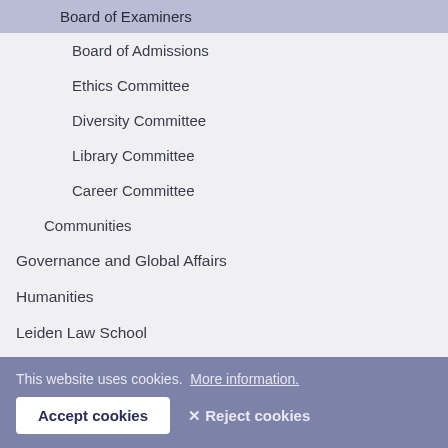Board of Examiners
Board of Admissions
Ethics Committee
Diversity Committee
Library Committee
Career Committee
Communities
Governance and Global Affairs
Humanities
Leiden Law School
Medicine/Leiden University Medical Center
Science
Social and Behavioural Sciences
This website uses cookies. More information.
Accept cookies
✕ Reject cookies